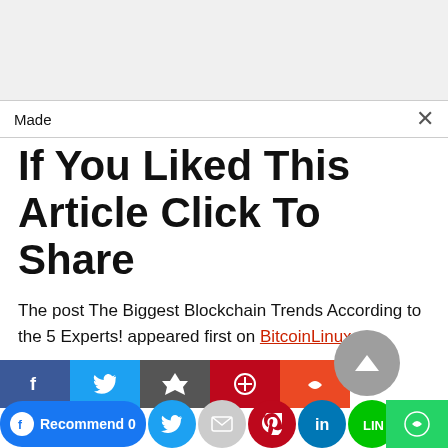Made
If You Liked This Article Click To Share
The post The Biggest Blockchain Trends According to the 5 Experts! appeared first on BitcoinLinux.
[Figure (infographic): Social media share buttons row: Facebook, Twitter, Digg, Pinterest, StumbleUpon, and a bottom row with Facebook Recommend 0, Twitter, Email, Pinterest, LinkedIn, LINE, Reddit, Tumblr, scroll-up arrow, WhatsApp]